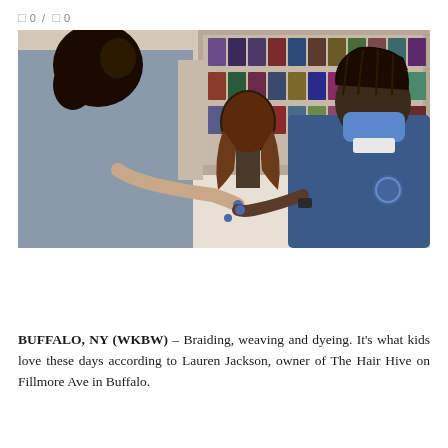0 / 0
[Figure (photo): A person in a blue school uniform and blue face mask braiding hair on a mannequin head in a hair supply store, with another person in a gray shirt standing nearby. Store shelves with hair products and wigs visible in the background.]
BUFFALO, NY (WKBW) – Braiding, weaving and dyeing. It's what kids love these days according to Lauren Jackson, owner of The Hair Hive on Fillmore Ave in Buffalo.